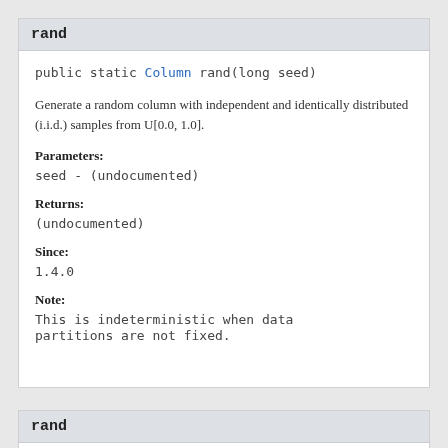rand
public static Column rand(long seed)
Generate a random column with independent and identically distributed (i.i.d.) samples from U[0.0, 1.0].
Parameters:
seed - (undocumented)
Returns:
(undocumented)
Since:
1.4.0
Note:
This is indeterministic when data partitions are not fixed.
rand